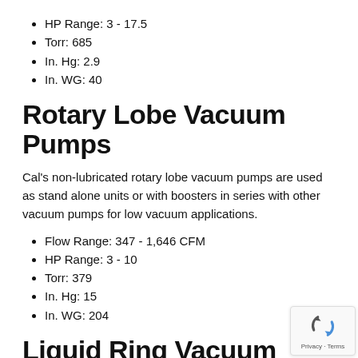HP Range: 3 - 17.5
Torr: 685
In. Hg: 2.9
In. WG: 40
Rotary Lobe Vacuum Pumps
Cal's non-lubricated rotary lobe vacuum pumps are used as stand alone units or with boosters in series with other vacuum pumps for low vacuum applications.
Flow Range: 347 - 1,646 CFM
HP Range: 3 - 10
Torr: 379
In. Hg: 15
In. WG: 204
Liquid Ring Vacuum Pumps